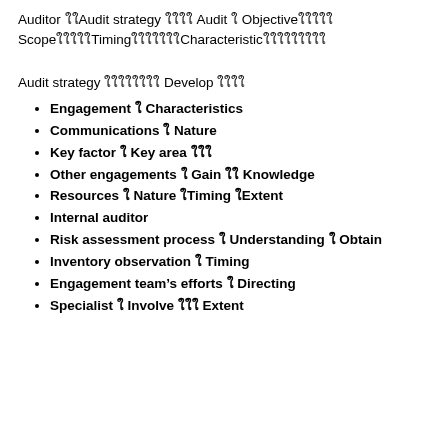Auditor ใใAudit strategy ใใใใ Audit ใ Objectiveใใใใใ ScopeใใใใใTimingใใใใใใใCharacteristicใใใใใใใใใ
Audit strategy ใใใใใใใใ Develop ใใใใ
Engagement ใ Characteristics
Communications ใ Nature
Key factor ใ Key area ใใใ
Other engagements ใ Gain ใใ Knowledge
Resources ใ Nature ใTiming ใExtent
Internal auditor
Risk assessment process ใ Understanding ใ Obtain
Inventory observation ใ Timing
Engagement team’s efforts ใ Directing
Specialist ใ Involve ใใใ Extent